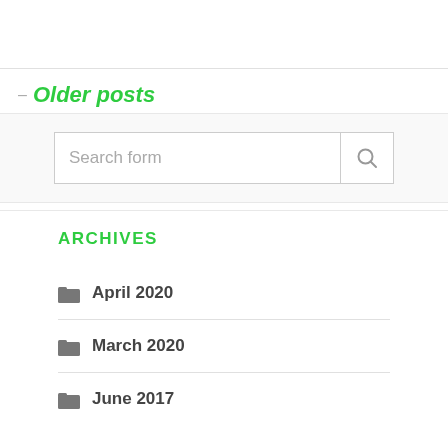— Older posts
Search form
ARCHIVES
April 2020
March 2020
June 2017